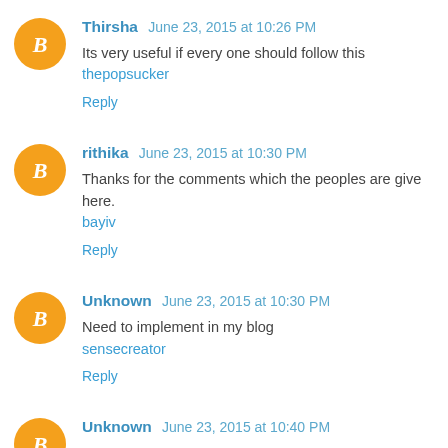Thirsha  June 23, 2015 at 10:26 PM
Its very useful if every one should follow this thepopsucker
Reply
rithika  June 23, 2015 at 10:30 PM
Thanks for the comments which the peoples are give here.
bayiv
Reply
Unknown  June 23, 2015 at 10:30 PM
Need to implement in my blog
sensecreator
Reply
Unknown  June 23, 2015 at 10:40 PM